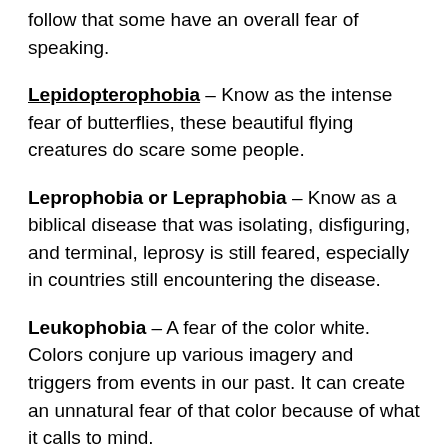follow that some have an overall fear of speaking.
Lepidopterophobia – Know as the intense fear of butterflies, these beautiful flying creatures do scare some people.
Leprophobia or Lepraphobia – Know as a biblical disease that was isolating, disfiguring, and terminal, leprosy is still feared, especially in countries still encountering the disease.
Leukophobia – A fear of the color white. Colors conjure up various imagery and triggers from events in our past. It can create an unnatural fear of that color because of what it calls to mind.